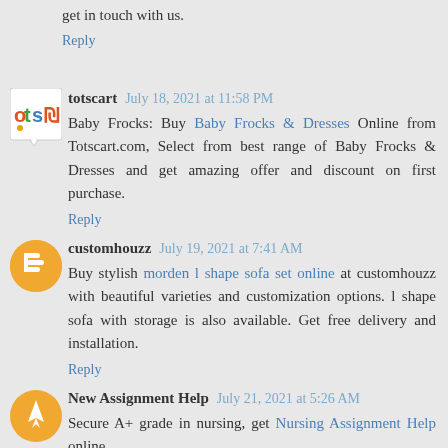get in touch with us.
Reply
totscart  July 18, 2021 at 11:58 PM
Baby Frocks: Buy Baby Frocks & Dresses Online from Totscart.com, Select from best range of Baby Frocks & Dresses and get amazing offer and discount on first purchase.
Reply
customhouzz  July 19, 2021 at 7:41 AM
Buy stylish morden l shape sofa set online at customhouzz with beautiful varieties and customization options. l shape sofa with storage is also available. Get free delivery and installation.
Reply
New Assignment Help  July 21, 2021 at 5:26 AM
Secure A+ grade in nursing, get Nursing Assignment Help online